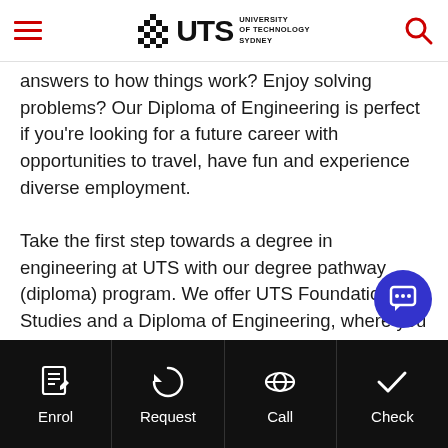UTS - University of Technology Sydney
answers to how things work? Enjoy solving problems? Our Diploma of Engineering is perfect if you're looking for a future career with opportunities to travel, have fun and experience diverse employment.
Take the first step towards a degree in engineering at UTS with our degree pathway (diploma) program. We offer UTS Foundation Studies and a Diploma of Engineering, where you can go straight into the second year of your UTS engineering degree*.
Learn more →
Enrol | Request | Call | Check